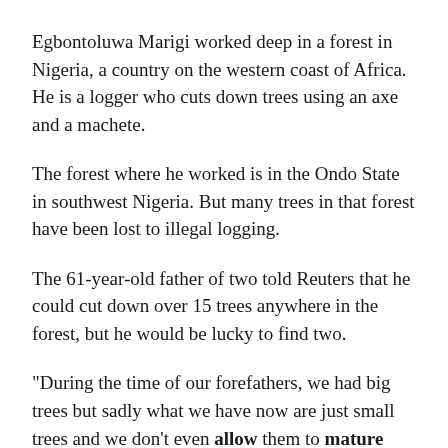Egbontoluwa Marigi worked deep in a forest in Nigeria, a country on the western coast of Africa. He is a logger who cuts down trees using an axe and a machete.
The forest where he worked is in the Ondo State in southwest Nigeria. But many trees in that forest have been lost to illegal logging.
The 61-year-old father of two told Reuters that he could cut down over 15 trees anywhere in the forest, but he would be lucky to find two.
"During the time of our forefathers, we had big trees but sadly what we have now are just small trees and we don't even allow them to mature before we cut them," Marigi said.